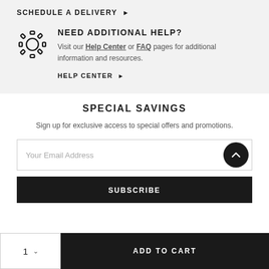SCHEDULE A DELIVERY ▶
NEED ADDITIONAL HELP?
Visit our Help Center or FAQ pages for additional information and resources.
HELP CENTER ▶
SPECIAL SAVINGS
Sign up for exclusive access to special offers and promotions.
Your Email Address
SUBSCRIBE
1
ADD TO CART